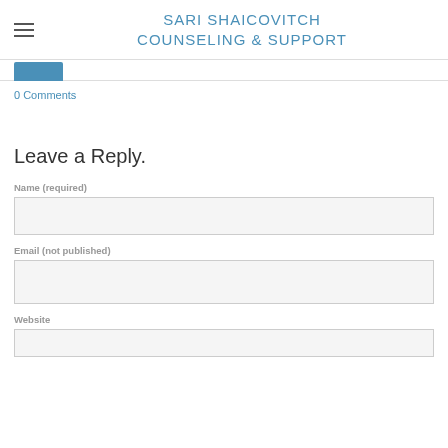SARI SHAICOVITCH COUNSELING & SUPPORT
0 Comments
Leave a Reply.
Name (required)
Email (not published)
Website